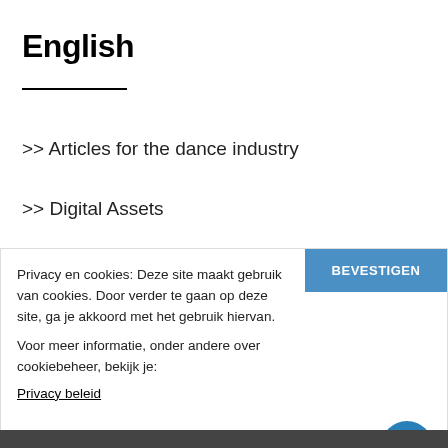English
>> Articles for the dance industry
>> Digital Assets
Privacy en cookies: Deze site maakt gebruik van cookies. Door verder te gaan op deze site, ga je akkoord met het gebruik hiervan.
Voor meer informatie, onder andere over cookiebeheer, bekijk je:
Privacy beleid
BEVESTIGEN
Hoe kan ik helpen?